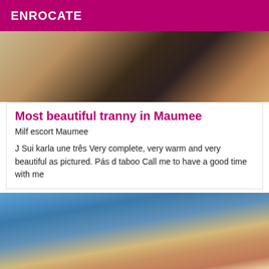ENROCATE
[Figure (photo): Partial photo of a person in black lingerie]
Most beautiful tranny in Maumee
Milf escort Maumee
J Sui karla une três Very complete, very warm and very beautiful as pictured. Pás d taboo Call me to have a good time with me
[Figure (photo): Blonde woman in pink/magenta bikini lying on a boat deck with blue ocean in background]